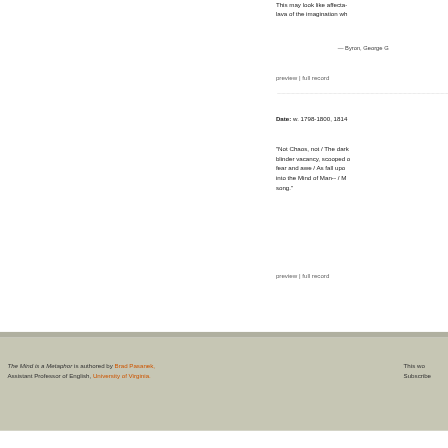This may look like affecta- lava of the imagination wh
— Byron, George G
preview | full record
Date: w. 1798-1800, 1814
"Not Chaos, not / The dark blinder vacancy, scooped o fear and awe / As fall upo into the Mind of Man-- / M song."
preview | full record
The Mind is a Metaphor is authored by Brad Pasanek, Assistant Professor of English, University of Virginia. This wo Subscribe